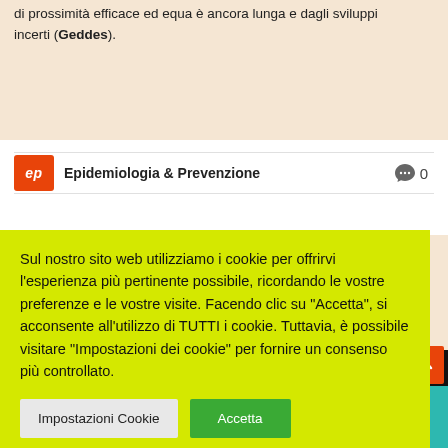di prossimità efficace ed equa è ancora lunga e dagli sviluppi incerti (Geddes).
[Figure (logo): Epidemiologia & Prevenzione journal logo - orange EP square badge with italic white text]
Epidemiologia & Prevenzione
Sul nostro sito web utilizziamo i cookie per offrirvi l'esperienza più pertinente possibile, ricordando le vostre preferenze e le vostre visite. Facendo clic su 'Accetta', si acconsente all'utilizzo di TUTTI i cookie. Tuttavia, è possibile visitare "Impostazioni dei cookie" per fornire un consenso più controllato.
Impostazioni Cookie
Accetta
[Figure (photo): Partial view of a magazine cover with teal/black background, showing '19' in large white text and supplemento text at top]